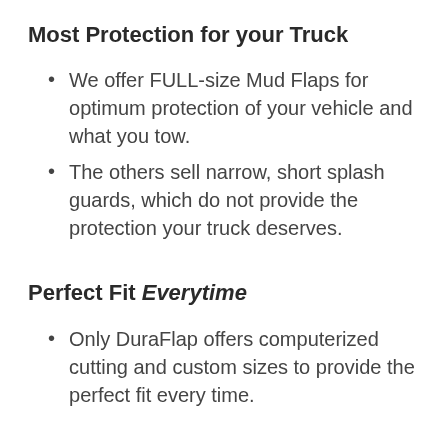Most Protection for your Truck
We offer FULL-size Mud Flaps for optimum protection of your vehicle and what you tow.
The others sell narrow, short splash guards, which do not provide the protection your truck deserves.
Perfect Fit Everytime
Only DuraFlap offers computerized cutting and custom sizes to provide the perfect fit every time.